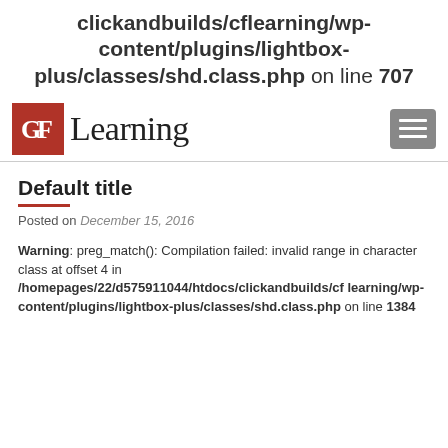clickandbuilds/cflearning/wp-content/plugins/lightbox-plus/classes/shd.class.php on line 707
[Figure (logo): CF Learning logo with red square containing white CF letters and serif Learning text, plus hamburger menu button]
Default title
Posted on December 15, 2016
Warning: preg_match(): Compilation failed: invalid range in character class at offset 4 in /homepages/22/d575911044/htdocs/clickandbuilds/cflearning/wp-content/plugins/lightbox-plus/classes/shd.class.php on line 1384